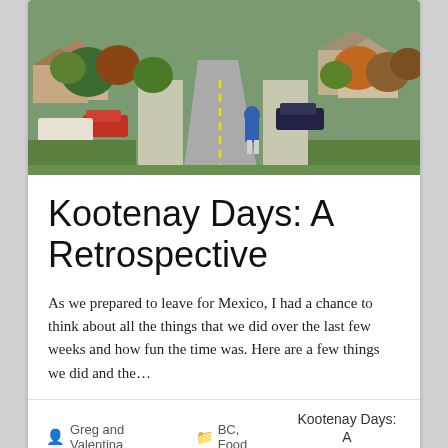[Figure (photo): Aerial/elevated view of a small town street with houses, trees in autumn colors, parked vehicles, and a person in a blue hoodie walking away from the camera along the road.]
Kootenay Days: A Retrospective
As we prepared to leave for Mexico, I had a chance to think about all the things that we did over the last few weeks and how fun the time was. Here are a few things we did and the...
Greg and Valentina   BC, Food   Kootenay Days: A Retrospective
read more